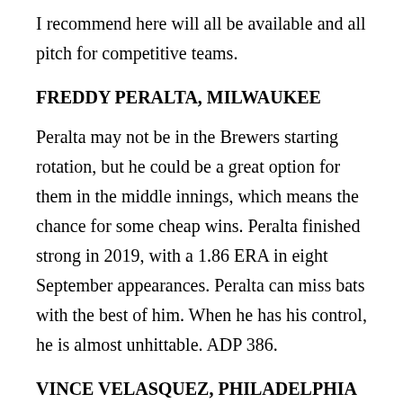I recommend here will all be available and all pitch for competitive teams.
FREDDY PERALTA, MILWAUKEE
Peralta may not be in the Brewers starting rotation, but he could be a great option for them in the middle innings, which means the chance for some cheap wins. Peralta finished strong in 2019, with a 1.86 ERA in eight September appearances. Peralta can miss bats with the best of him. When he has his control, he is almost unhittable. ADP 386.
VINCE VELASQUEZ, PHILADELPHIA
Velasquez is not assured of a spot in the Phillies starting rotation, and that puts him in a position to pick up some